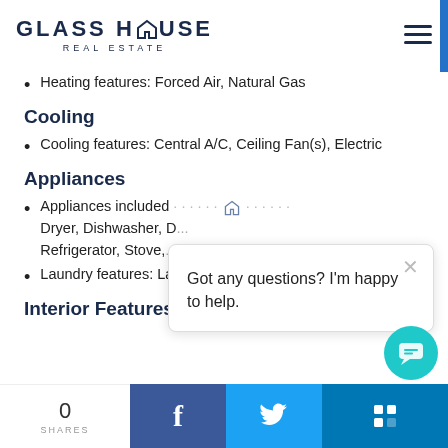GLASS HOUSE REAL ESTATE
Heating features: Forced Air, Natural Gas
Cooling
Cooling features: Central A/C, Ceiling Fan(s), Electric
Appliances
Appliances included: Dryer, Dishwasher, Refrigerator, Stove,...
Laundry features: La...
Interior Features
0 SHARES